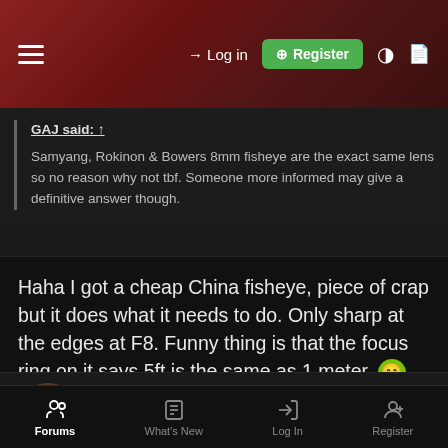Log in | Register
GAJ said: ↑

Samyang, Rokinon & Bowers 8mm fisheye are the exact same lens so no reason why not tbf. Someone more informed may give a definitive answer though.
Haha I got a cheap China fisheye, piece of crap but it does what it needs to do. Only sharp at the edges at F8. Funny thing is that the focus ring on it says 5ft is the same as 1 meter. 😆
Adders
living in a cold world | Regular User
Feb 3, 2015  #82
Forums | What's New | Log In | Register